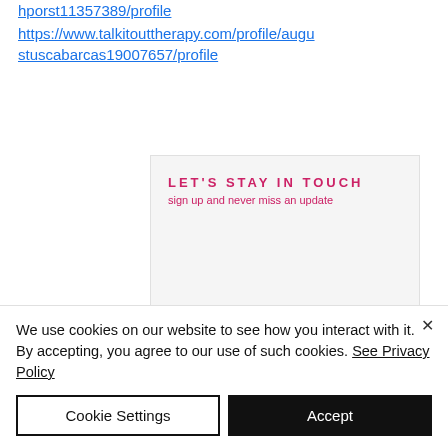hporst11357389/profile https://www.talkitouttherapy.com/profile/augustuscabarcas19007657/profile
[Figure (infographic): Newsletter signup box with 'LET'S STAY IN TOUCH' heading in bold red uppercase with wide letter-spacing, subtitle 'sign up and never miss an update' in red, and 'FOLLOW ME' heading with 'on social media' subtitle, on a light gray background]
We use cookies on our website to see how you interact with it. By accepting, you agree to our use of such cookies. See Privacy Policy
Cookie Settings
Accept